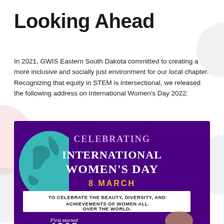Looking Ahead
In 2021, GWIS Eastern South Dakota committed to creating a more inclusive and socially just environment for our local chapter. Recognizing that equity in STEM is intersectional, we released the following address on International Women's Day 2022:
[Figure (infographic): International Women's Day infographic on purple background featuring a globe graphic. Text reads: CELEBRATING INTERNATIONAL WOMEN'S DAY 8 MARCH. White box with text: TO CELEBRATE THE BEAUTY, DIVERSITY, AND ACHIEVEMENTS OF WOMEN ALL OVER THE WORLD. Below: First started 1908 (partially visible)]